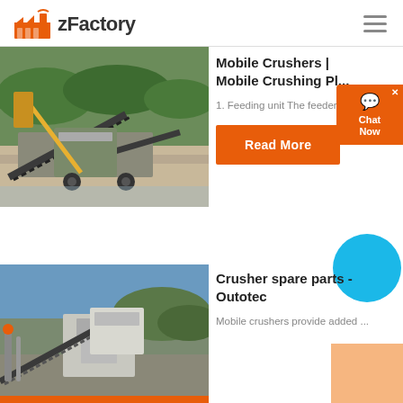zFactory
[Figure (photo): Mobile crushing plant machinery at a quarry/riverbank site with conveyor belts and heavy equipment]
Mobile Crushers | Mobile Crushing Pl...
1. Feeding unit The feeder pr...
Read More
[Figure (photo): Crusher machinery and conveyor equipment on a hillside construction site]
Crusher spare parts - Outotec
Mobile crushers provide added ...